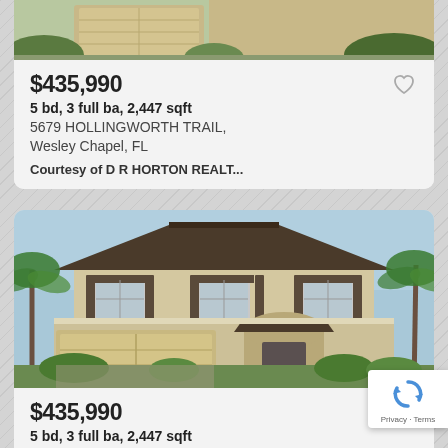[Figure (photo): Top partial view of a house with garage and green landscaping, cut off at top]
$435,990
5 bd, 3 full ba, 2,447 sqft
5679 HOLLINGWORTH TRAIL, Wesley Chapel, FL
Courtesy of D R HORTON REALT...
[Figure (photo): Two-story beige stucco house with dark shutters, two-car garage, and tropical landscaping]
$435,990
5 bd, 3 full ba, 2,447 sqft